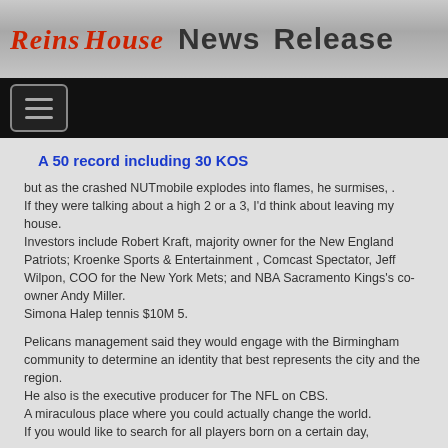Reinas House News Release
A 50 record including 30 KOS
but as the crashed NUTmobile explodes into flames, he surmises, .
If they were talking about a high 2 or a 3, I'd think about leaving my house.
Investors include Robert Kraft, majority owner for the New England Patriots; Kroenke Sports & Entertainment , Comcast Spectator, Jeff Wilpon, COO for the New York Mets; and NBA Sacramento Kings's co-owner Andy Miller.
Simona Halep tennis $10M 5.
Pelicans management said they would engage with the Birmingham community to determine an identity that best represents the city and the region.
He also is the executive producer for The NFL on CBS.
A miraculous place where you could actually change the world.
If you would like to search for all players born on a certain day,